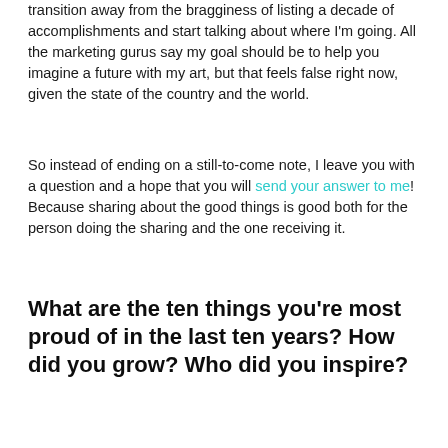transition away from the bragginess of listing a decade of accomplishments and start talking about where I'm going. All the marketing gurus say my goal should be to help you imagine a future with my art, but that feels false right now, given the state of the country and the world.
So instead of ending on a still-to-come note, I leave you with a question and a hope that you will send your answer to me! Because sharing about the good things is good both for the person doing the sharing and the one receiving it.
What are the ten things you're most proud of in the last ten years? How did you grow? Who did you inspire?